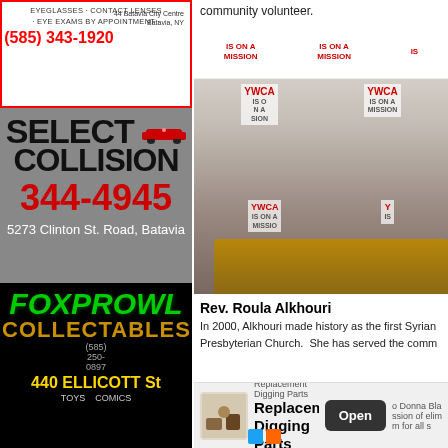community volunteer.
[Figure (photo): Woman speaking at podium with YWCA IS ON A MISSION backdrop]
[Figure (advertisement): Eyeglasses contact lenses eye exams ad. Phone (585) 343-1920. 44 Batavia City Centre, Batavia, NY]
[Figure (advertisement): Select Collision ad. Phone 344-4945. 5273 Clinton St. Road, Batavia]
[Figure (advertisement): FoxProwl Collectables ad. 440 Ellicott St. Toys, Comics. (585) 250-0897]
[Figure (advertisement): Erie East Windows and Doors. Call John Today! 585-757-2768]
[Figure (advertisement): Complete Powder Coating Facility - Le Roy. The Finishing Line. Click Here for More Info]
Rev. Roula Alkhouri
In 2000, Alkhouri made history as the first Syrian Presbyterian Church. She has served the comm
[Figure (advertisement): Replacement Digging Parts ad with Open button]